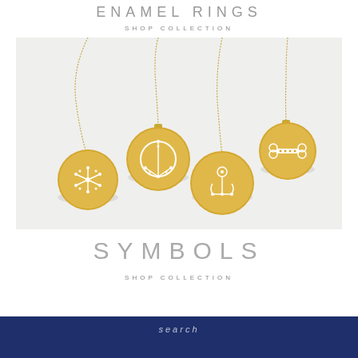ENAMEL RINGS
SHOP COLLECTION
[Figure (photo): Four gold disc pendant necklaces on chains displayed against a light gray background. Each disc features a different diamond-set symbol: starfish (bottom left), peace sign (top center-left), anchor (bottom center-right), and dog bone (top right).]
SYMBOLS
SHOP COLLECTION
Search